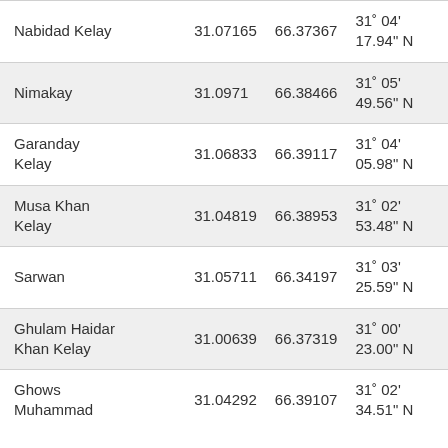| Name | Latitude | Longitude | DMS Latitude |
| --- | --- | --- | --- |
| Nabidad Kelay | 31.07165 | 66.37367 | 31° 04' 17.94" N |
| Nimakay | 31.0971 | 66.38466 | 31° 05' 49.56" N |
| Garanday Kelay | 31.06833 | 66.39117 | 31° 04' 05.98" N |
| Musa Khan Kelay | 31.04819 | 66.38953 | 31° 02' 53.48" N |
| Sarwan | 31.05711 | 66.34197 | 31° 03' 25.59" N |
| Ghulam Haidar Khan Kelay | 31.00639 | 66.37319 | 31° 00' 23.00" N |
| Ghows Muhammad | 31.04292 | 66.39107 | 31° 02' 34.51" N |